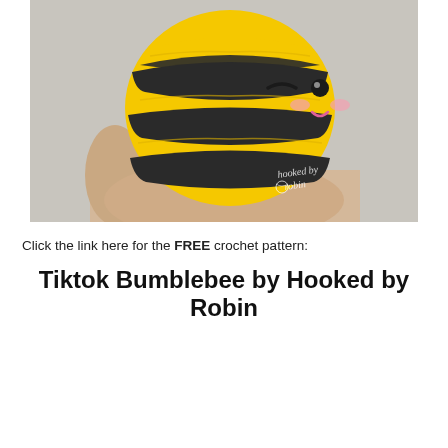[Figure (photo): A hand holding a round crocheted bumblebee amigurumi. The bee is yellow with dark charcoal/black stripes, has a winking face with black button eye and small pink embroidered smile. A watermark reading 'hooked by robin' with a yarn ball icon appears in the lower right of the photo.]
Click the link here for the FREE crochet pattern:
Tiktok Bumblebee by Hooked by Robin